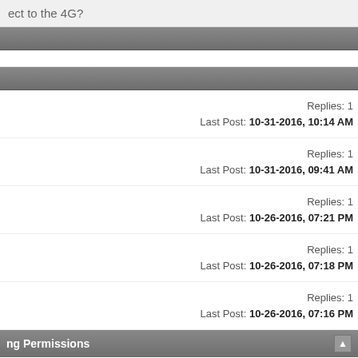ect to the 4G?
Replies: 1
Last Post: 10-31-2016, 10:14 AM
Replies: 1
Last Post: 10-31-2016, 09:41 AM
Replies: 1
Last Post: 10-26-2016, 07:21 PM
Replies: 1
Last Post: 10-26-2016, 07:18 PM
Replies: 1
Last Post: 10-26-2016, 07:16 PM
ng Permissions
may post new threads
may post replies
may not post attachments
may not edit your posts
BB code is On
Smilies are On
[IMG] code is On
[VIDEO] code is On